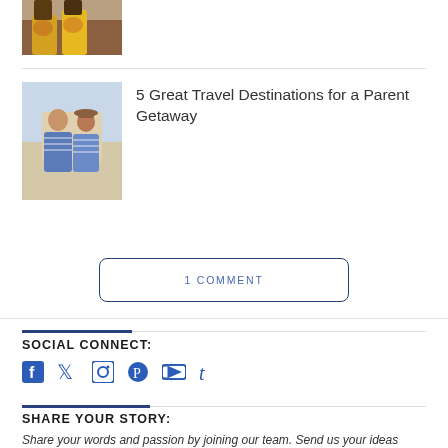[Figure (photo): Photo of children's yellow shoes on a wooden surface]
[Figure (photo): Photo of a couple in matching striped shirts looking at each other]
5 Great Travel Destinations for a Parent Getaway
1 COMMENT
SOCIAL CONNECT:
[Figure (infographic): Social media icons: Facebook, Twitter, Instagram, Pinterest, YouTube, Tumblr]
SHARE YOUR STORY:
Share your words and passion by joining our team. Send us your ideas today!
thedailybuzzboy@gmail.com